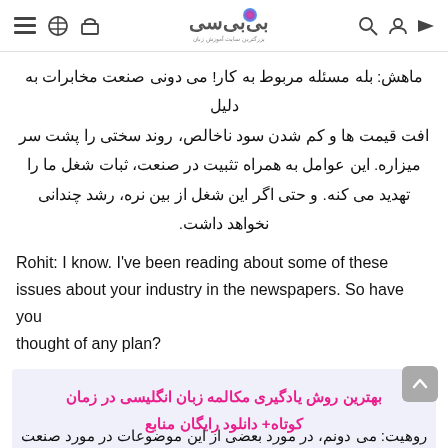بی بی سی [logo icons]
ماهش: بله مسئله مربوط به کار! می دونی صنعت مخابرات به دلیل افت قیمت ها و کم شدن سود ناخالص، روند سختی را پشت سر میزاره. این عوامل به همراه تثبیت در صنعت، ثبات شغل ما را تهدید می کنه. و حتی اگر این شغل از بین نره، رشد چندانی نخواهد داشت.
Rohit: I know. I've been reading about some of these issues about your industry in the newspapers. So have you thought of any plan?
بهترین روش یادگیری مکالمه زبان انگلیسی در زمان کوتاه+ دانلود رایگان منابع
روهیت: می دونم، در مورد بعضی از این موضوعات در مورد صنعت